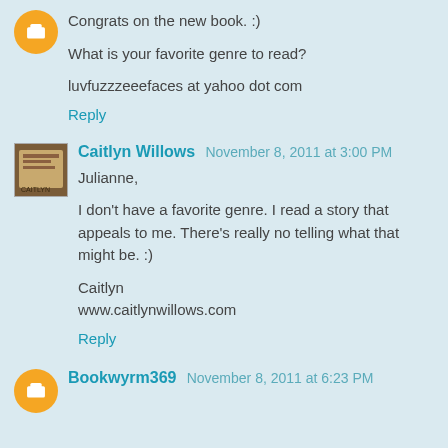Congrats on the new book. :)
What is your favorite genre to read?
luvfuzzzeeefaces at yahoo dot com
Reply
Caitlyn Willows  November 8, 2011 at 3:00 PM
Julianne,
I don't have a favorite genre. I read a story that appeals to me. There's really no telling what that might be. :)
Caitlyn
www.caitlynwillows.com
Reply
Bookwyrm369  November 8, 2011 at 6:23 PM